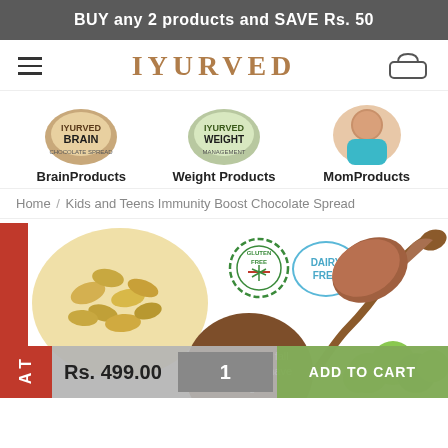BUY any 2 products and SAVE Rs. 50
[Figure (logo): IYURVED brand logo with hamburger menu and cart icon]
[Figure (infographic): Three category icons: Brain Products (jar), Weight Products (jar), Mom Products (woman photo)]
Home / Kids and Teens Immunity Boost Chocolate Spread
[Figure (photo): Product page image showing oats, gluten free and dairy free badges, chocolate spread on a spoon, amla fruits, and a brown circular badge saying 'For kids who fall sick often or have allergies']
Rs. 499.00
ADD TO CART